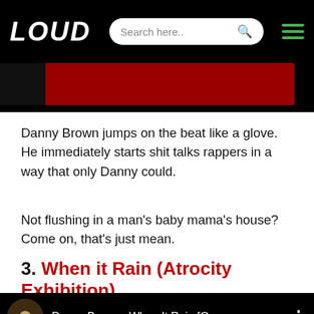LOUD — Search here..
[Figure (screenshot): Partial image strip showing a dark red and black background, partially cropped at top]
Danny Brown jumps on the beat like a glove. He immediately starts shit talks rappers in a way that only Danny could.
Not flushing in a man's baby mama's house? Come on, that's just mean.
3. When it Rain (Atrocity Exhibition)
[Figure (screenshot): YouTube embed showing Danny Brown - When It Rain [O... with thumbnail]
SUBSCRIBE NOW